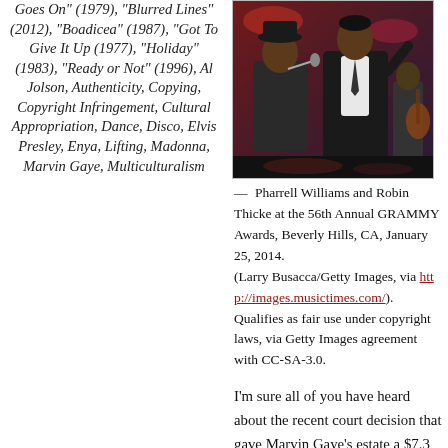Goes On" (1979), "Blurred Lines" (2012), "Boadicea" (1987), "Got To Give It Up (1977), "Holiday" (1983), "Ready or Not" (1996), Al Jolson, Authenticity, Copying, Copyright Infringement, Cultural Appropriation, Dance, Disco, Elvis Presley, Enya, Lifting, Madonna, Marvin Gaye, Multiculturalism
[Figure (photo): Pharrell Williams and Robin Thicke performing on stage at the 56th Annual GRAMMY Awards]
— Pharrell Williams and Robin Thicke at the 56th Annual GRAMMY Awards, Beverly Hills, CA, January 25, 2014. (Larry Busacca/Getty Images, via http://images.musictimes.com/). Qualifies as fair use under copyright laws, via Getty Images agreement with CC-SA-3.0.
I'm sure all of you have heard about the recent court decision that gave Marvin Gaye's estate a $7.3 million award, finding that Pharrell Williams and Robin Thicke committed copyright infringement stemming from their 2012 hit single "Blurred Lines." They lifted the melody